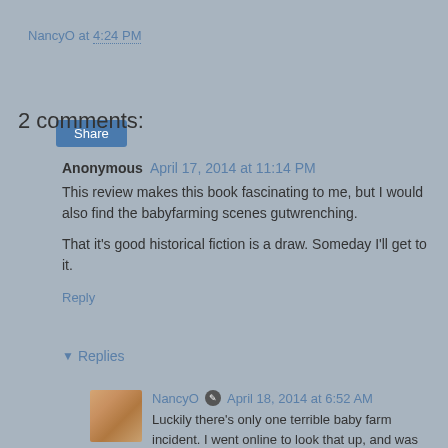NancyO at 4:24 PM
Share
2 comments:
Anonymous April 17, 2014 at 11:14 PM
This review makes this book fascinating to me, but I would also find the babyfarming scenes gutwrenching.

That it's good historical fiction is a draw. Someday I'll get to it.
Reply
▼ Replies
NancyO ✎ April 18, 2014 at 6:52 AM
Luckily there's only one terrible baby farm incident. I went online to look that up, and was